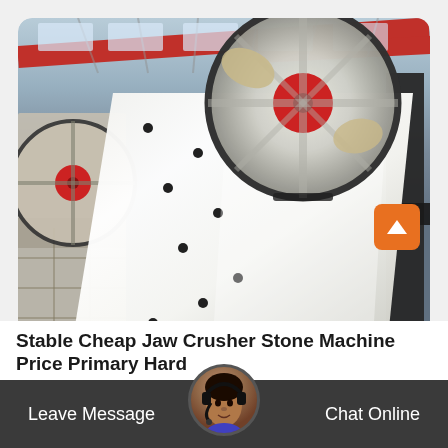[Figure (photo): Industrial jaw crusher machine in a factory setting. Large white/cream colored crushing machine with red and black flywheels, photographed from a low angle inside a manufacturing facility with red overhead beams and industrial ceiling.]
Stable Cheap Jaw Crusher Stone Machine Price Primary Hard
Leave Message
Chat Online